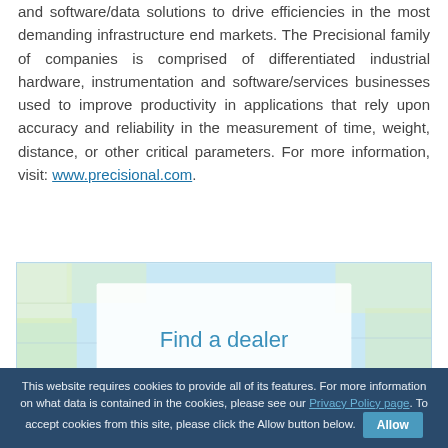and software/data solutions to drive efficiencies in the most demanding infrastructure end markets. The Precisional family of companies is comprised of differentiated industrial hardware, instrumentation and software/services businesses used to improve productivity in applications that rely upon accuracy and reliability in the measurement of time, weight, distance, or other critical parameters. For more information, visit: www.precisional.com.
[Figure (screenshot): Map widget showing a 'Find a dealer' overlay on a light blue/map background]
This website requires cookies to provide all of its features. For more information on what data is contained in the cookies, please see our Privacy Policy page. To accept cookies from this site, please click the Allow button below.